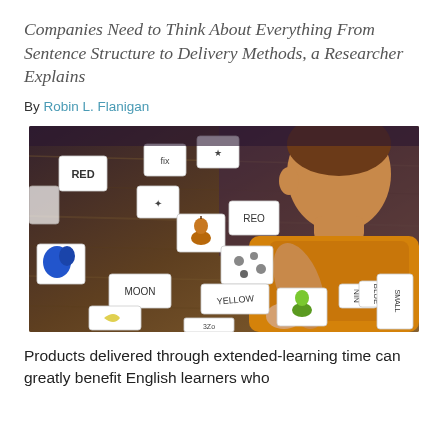Companies Need to Think About Everything From Sentence Structure to Delivery Methods, a Researcher Explains
By Robin L. Flanigan
[Figure (photo): A child in an orange shirt leans over a wooden table surface with interactive learning cards laid out, reaching to touch or arrange word and picture cards. Cards visible include words like RED, YELLOW, BLUE, MOON, and symbols/icons.]
Products delivered through extended-learning time can greatly benefit English learners who